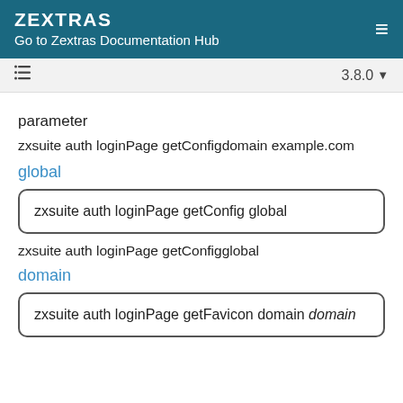ZEXTRAS
Go to Zextras Documentation Hub
3.8.0
parameter
zxsuite auth loginPage getConfigdomain example.com
global
zxsuite auth loginPage getConfig global
zxsuite auth loginPage getConfigglobal
domain
zxsuite auth loginPage getFavicon domain domain